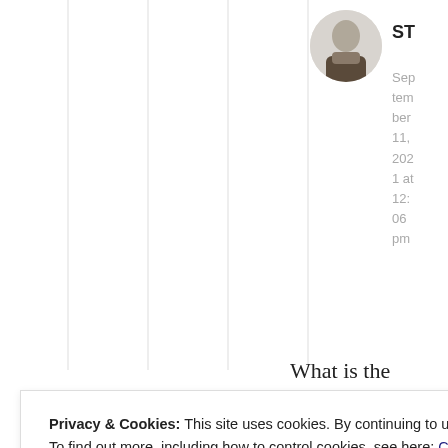[Figure (photo): Circular avatar photo of a person, partially visible, dark hair against light background]
ST
September 11, 2021 at 12:06 pm
What is the
Privacy & Cookies: This site uses cookies. By continuing to use this website, you agree to their use.
To find out more, including how to control cookies, see here: Cookie Policy
Close and accept